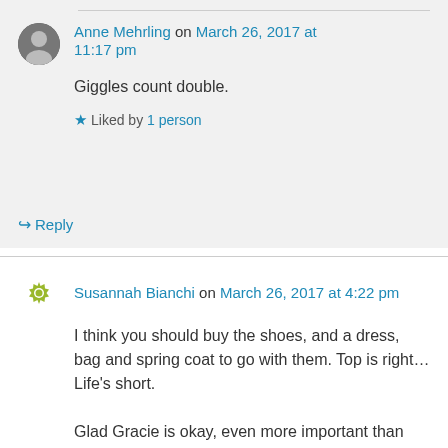Anne Mehrling on March 26, 2017 at 11:17 pm
Giggles count double.
Liked by 1 person
Reply
Susannah Bianchi on March 26, 2017 at 4:22 pm
I think you should buy the shoes, and a dress, bag and spring coat to go with them. Top is right…Life's short.

Glad Gracie is okay, even more important than